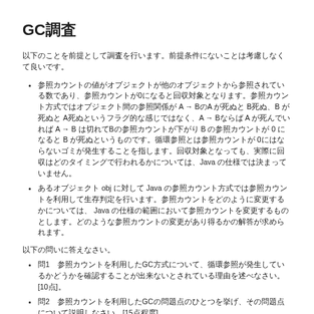GC調査
以下のことを前提として調査を行います。前提条件にないことは考慮しなくて良いです。
参照カウントの値がオブジェクトが他のオブジェクトから参照されている数であり、参照カウントが0になると回収対象となります。参照カウント方式ではオブジェクト間の参照関係が A → BのA が死ぬと B死ぬ、B が死ぬと A死ぬというフラグ的な感じではなく、A → Bならば A が死んでいれば A → B は切れてBの参照カウントが下がり B の参照カウントが 0 になると B が死ぬというものです。循環参照とは参照カウントが 0にはならないゴミが発生することを指します。回収対象となっても、実際に回収はどのタイミングで行われるかについては、Java の仕様では決まっていません。
あるオブジェクト obj に対して Java の参照カウント方式では参照カウントを利用して生存判定を行います。参照カウントをどのように変更するかについては、 Java の仕様の範囲において参照カウントを変更するものとします。どのような参照カウントの変更があり得るかの解答が求められます。
以下の問いに答えなさい。
問1　参照カウントを利用したGC方式について、循環参照が発生しているかどうかを確認することが出来ないとされている理由を述べなさい。[10点]。
問2　参照カウントを利用したGCの問題点のひとつを挙げ、その問題点について説明しなさい。[15点程度]。